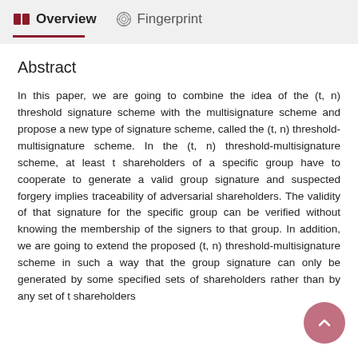Overview   Fingerprint
Abstract
In this paper, we are going to combine the idea of the (t, n) threshold signature scheme with the multisignature scheme and propose a new type of signature scheme, called the (t, n) threshold-multisignature scheme. In the (t, n) threshold-multisignature scheme, at least t shareholders of a specific group have to cooperate to generate a valid group signature and suspected forgery implies traceability of adversarial shareholders. The validity of that signature for the specific group can be verified without knowing the membership of the signers to that group. In addition, we are going to extend the proposed (t, n) threshold-multisignature scheme in such a way that the group signature can only be generated by some specified sets of shareholders rather than by any set of t shareholders